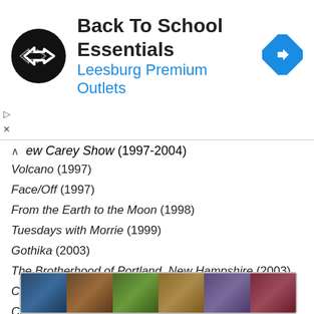[Figure (other): Advertisement banner for Back To School Essentials at Leesburg Premium Outlets with logo and navigation icon]
ew Carey Show (1997-2004)
Volcano (1997)
Face/Off (1997)
From the Earth to the Moon (1998)
Tuesdays with Morrie (1999)
Gothika (2003)
The Brotherhood of Portland, New Hampshire (2003)
Confidence (2003)
Close to Home (2005-2007)
K-Ville (2007-2008)
Shutter Island (2010)
Hesher (2010)
Crazy, Stupid, Love. (2011)
Body Proof (2011-2012)
Do No Harm (2013)
[Figure (photo): Strip of movie/show thumbnail images at the bottom of the page]